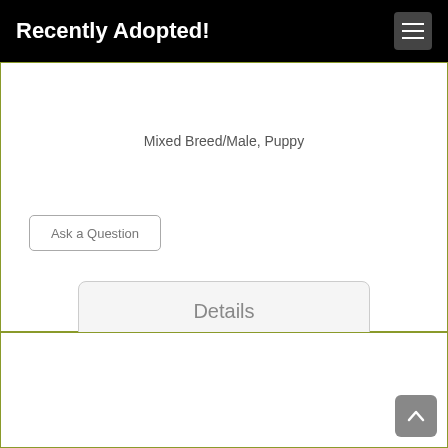Recently Adopted!
Mixed Breed/Male, Puppy
Ask a Question
Details
[Figure (photo): Close-up photo of a black and white mixed breed puppy looking at the camera, with floppy ears and a white blaze on its forehead, sitting near a window or door.]